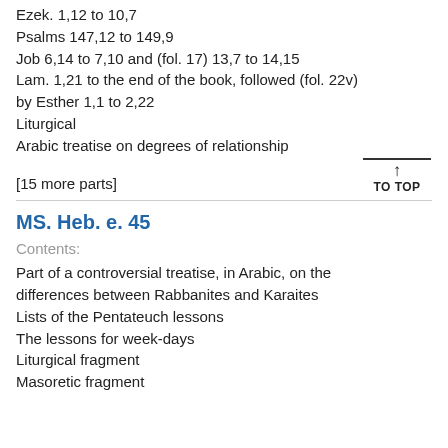Ezek. 1,12 to 10,7
Psalms 147,12 to 149,9
Job 6,14 to 7,10 and (fol. 17) 13,7 to 14,15
Lam. 1,21 to the end of the book, followed (fol. 22v) by Esther 1,1 to 2,22
Liturgical
Arabic treatise on degrees of relationship
[15 more parts]
TO TOP
MS. Heb. e. 45
Contents:
Part of a controversial treatise, in Arabic, on the differences between Rabbanites and Karaites
Lists of the Pentateuch lessons
The lessons for week-days
Liturgical fragment
Masoretic fragment